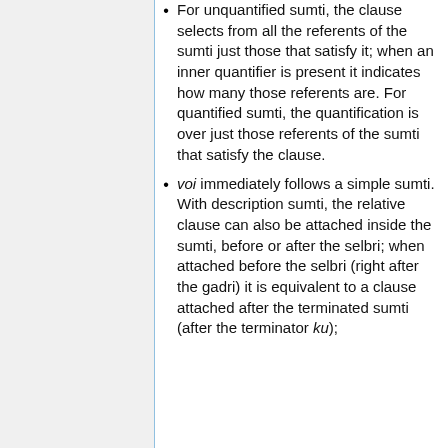For unquantified sumti, the clause selects from all the referents of the sumti just those that satisfy it; when an inner quantifier is present it indicates how many those referents are. For quantified sumti, the quantification is over just those referents of the sumti that satisfy the clause.
voi immediately follows a simple sumti. With description sumti, the relative clause can also be attached inside the sumti, before or after the selbri; when attached before the selbri (right after the gadri) it is equivalent to a clause attached after the terminated sumti (after the terminator ku);